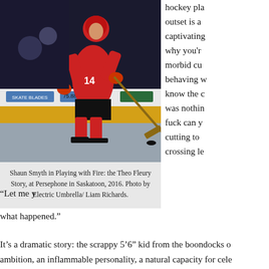[Figure (photo): Hockey player in red jersey number 14 skating on ice rink, holding a hockey stick, in a game or practice setting. Boards and advertisements visible in background.]
Shaun Smyth in Playing with Fire: the Theo Fleury Story, at Persephone in Saskatoon, 2016. Photo by Electric Umbrella/ Liam Richards.
hockey pla outset is a captivating why you'r morbid cu behaving w know the  was nothin fuck can y cutting to crossing le “Let me y what happened.”
It’s a dramatic story: the scrappy 5’6” kid from the boondocks o ambition, an inflammable personality, a natural capacity for cele stardom. And beyond: when his toxic secret begins to poison his unflinchingly, sometimes ruefully, always without a whine, to th “I’m a pretty determined guy,” he says mildly. Blame is not his